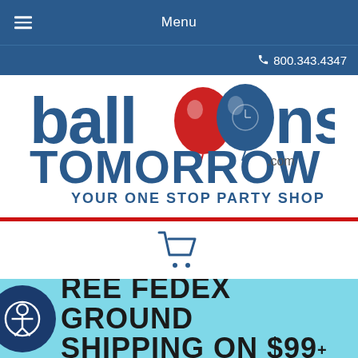Menu  800.343.4347
[Figure (logo): Balloons Tomorrow logo with red and blue balloons and tagline 'Your One Stop Party Shop']
[Figure (illustration): Shopping cart icon]
FREE FEDEX GROUND SHIPPING ON $99+